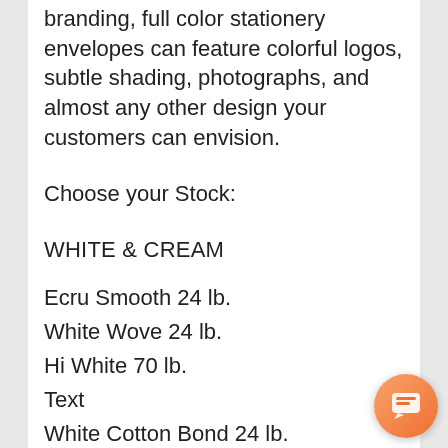branding, full color stationery envelopes can feature colorful logos, subtle shading, photographs, and almost any other design your customers can envision.
Choose your Stock:
WHITE & CREAM
Ecru Smooth 24 lb.
White Wove 24 lb.
Hi White 70 lb.
Text
White Cotton Bond 24 lb.
CLASSIC CREST? Solar White 24 lb.
CLASSIC CREST? Solar White 80 lb.